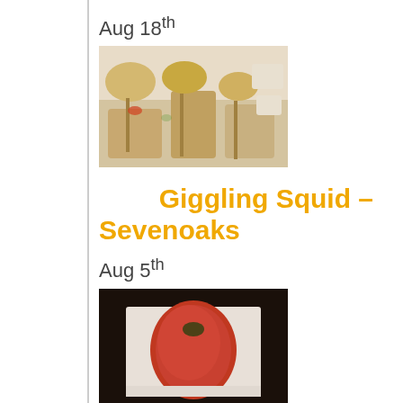Aug 18th
[Figure (photo): Thai food skewers with dipping sauces on a white plate with green leaf garnish]
Giggling Squid – Sevenoaks
Aug 5th
[Figure (photo): A glass of red/tomato cocktail or sauce on a white plate, dark background]
Bush Pepper – Newquay
Jul 23rd
[Figure (photo): Dark photo of dim sum or dumplings in steamer baskets]